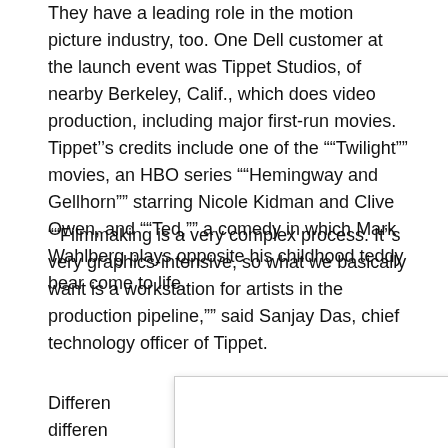They have a leading role in the motion picture industry, too. One Dell customer at the launch event was Tippet Studios, of nearby Berkeley, Calif., which does video production, including major first-run movies. Tippet’s credits include one of the “Twilight” movies, an HBO series “Hemingway and Gellhorn” starring Nicole Kidman and Clive Owen, and “Ted,” a comedy in which Mark Wahlberg plays opposite his childhood teddy bear come to life.
“Filmmaking is a very complex process. It’s very graphics-intensive, so what we basically want is a workstation for artists in the production pipeline,” said Sanjay Das, chief technology officer of Tippet.
Differen different